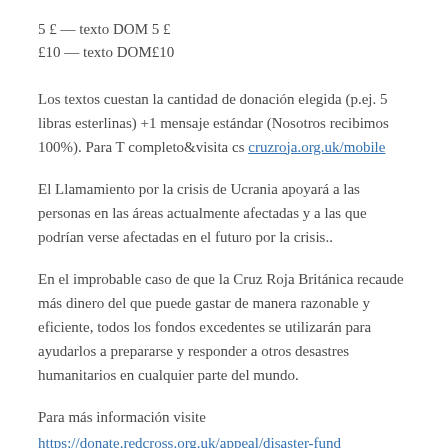5 £ — texto DOM 5 £
£10 — texto DOM£10
Los textos cuestan la cantidad de donación elegida (p.ej. 5 libras esterlinas) +1 mensaje estándar (Nosotros recibimos 100%). Para T completo&visita cs cruzroja.org.uk/mobile
El Llamamiento por la crisis de Ucrania apoyará a las personas en las áreas actualmente afectadas y a las que podrían verse afectadas en el futuro por la crisis..
En el improbable caso de que la Cruz Roja Británica recaude más dinero del que puede gastar de manera razonable y eficiente, todos los fondos excedentes se utilizarán para ayudarlos a prepararse y responder a otros desastres humanitarios en cualquier parte del mundo.
Para más información visite
https://donate.redcross.org.uk/appeal/disaster-fund